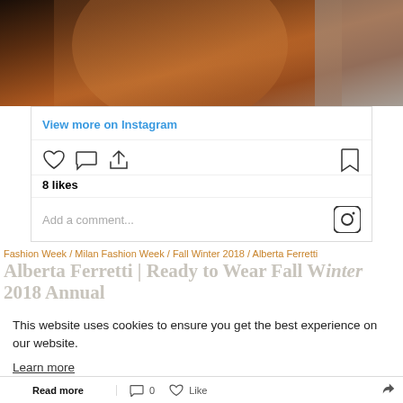[Figure (photo): Fashion photo showing a person in brown leather jacket and gloves, cropped view]
View more on Instagram
[Figure (infographic): Instagram action icons: heart (like), comment bubble, share arrow, and bookmark icon. Shows 8 likes.]
8 likes
Add a comment...
Fashion Week / Milan Fashion Week / Fall Winter 2018 / Alberta Ferretti
Alberta Ferretti | Ready to Wear Fall Winter 2018 Annual
This website uses cookies to ensure you get the best experience on our website.
Learn more
The Alberta Ferretti Fall Winter 2018 collection evokes...er
Got it!
Read more